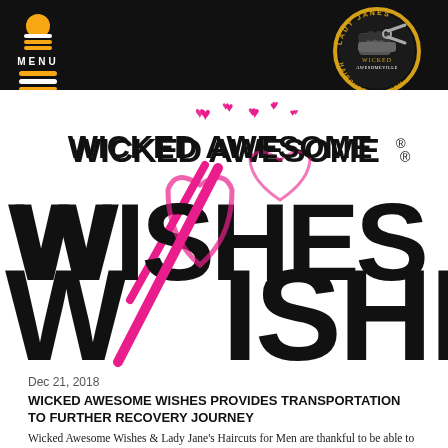MENU
[Figure (logo): Lady Jane's Haircuts for Men circular logo with wicked fist/scissors graphic, gold and white text on dark background]
[Figure (logo): Wicked Awesome Wishes logo: large stylized black text 'WICKED AWESOME WISHES' with pink slash through W, pink hearts, registered trademark symbol]
Dec 21, 2018
WICKED AWESOME WISHES PROVIDES TRANSPORTATION TO FURTHER RECOVERY JOURNEY
Wicked Awesome Wishes & Lady Jane's Haircuts for Men are thankful to be able to grant Kathleen's wish to continue down a path of recovery. Kathleen has hit hard times and fights everyday to survive. It started with the loss of her husband and father of her children in 2016. Kathleen turned to drugs and alcohol to cope with the pain of this